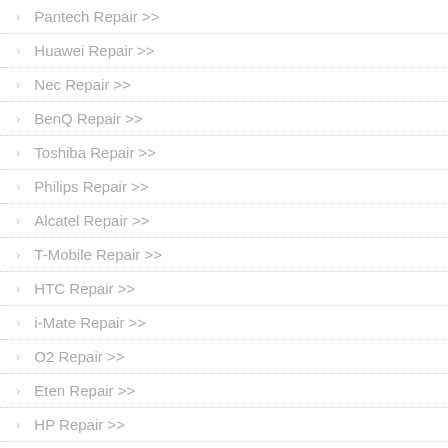Pantech Repair >>
Huawei Repair >>
Nec Repair >>
BenQ Repair >>
Toshiba Repair >>
Philips Repair >>
Alcatel Repair >>
T-Mobile Repair >>
HTC Repair >>
i-Mate Repair >>
O2 Repair >>
Eten Repair >>
HP Repair >>
Asus Repair >>
Vodafone Repair >>